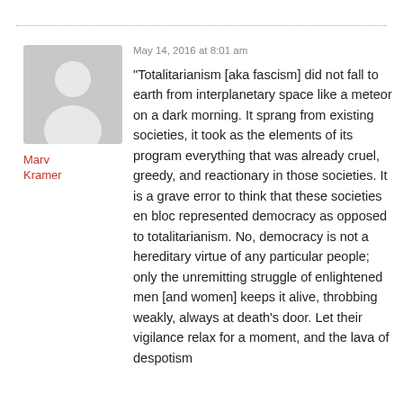May 14, 2016 at 8:01 am
[Figure (illustration): Gray placeholder avatar silhouette of a person on gray background]
Marv Kramer
“Totalitarianism [aka fascism] did not fall to earth from interplanetary space like a meteor on a dark morning. It sprang from existing societies, it took as the elements of its program everything that was already cruel, greedy, and reactionary in those societies. It is a grave error to think that these societies en bloc represented democracy as opposed to totalitarianism. No, democracy is not a hereditary virtue of any particular people; only the unremitting struggle of enlightened men [and women] keeps it alive, throbbing weakly, always at death’s door. Let their vigilance relax for a moment, and the lava of despotism